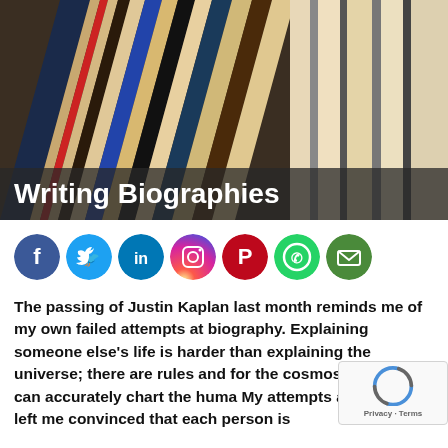[Figure (photo): Stack of books viewed from above showing spines fanned out, with various colored covers including blue, red, and black]
Writing Biographies
[Figure (infographic): Row of social media share icons: Facebook (blue), Twitter (light blue), LinkedIn (blue), Instagram (gradient), Pinterest (red), WhatsApp (green), Email (green)]
The passing of Justin Kaplan last month reminds me of my own failed attempts at biography. Explaining someone else's life is harder than explaining the universe; there are rules and for the cosmos, but who can accurately chart the huma My attempts at biography left me convinced that each person is